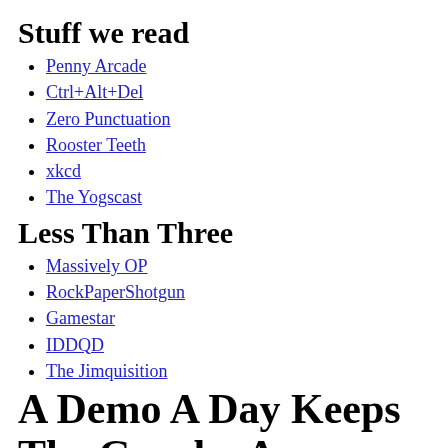Stuff we read
Penny Arcade
Ctrl+Alt+Del
Zero Punctuation
Rooster Teeth
xkcd
The Yogscast
Less Than Three
Massively OP
RockPaperShotgun
Gamestar
IDDQD
The Jimquisition
A Demo A Day Keeps The Gropho Away